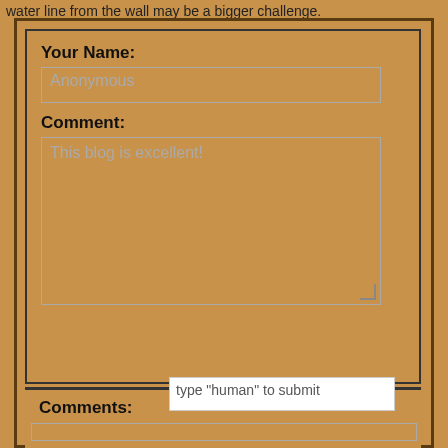water line from the wall may be a bigger challenge.
Your Name:
Anonymous
Comment:
This blog is excellent!
type "human" to submit
Submit
Comments: